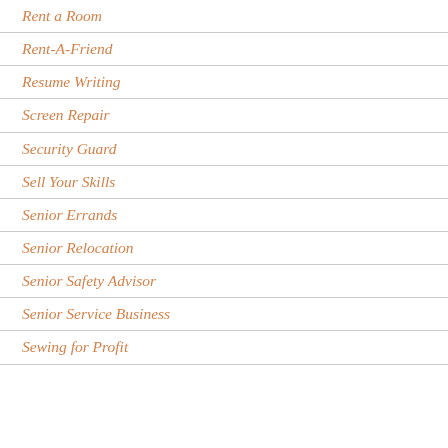Rent a Room
Rent-A-Friend
Resume Writing
Screen Repair
Security Guard
Sell Your Skills
Senior Errands
Senior Relocation
Senior Safety Advisor
Senior Service Business
Sewing for Profit